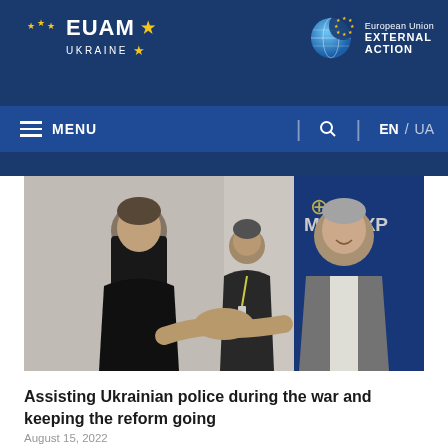EUAM UKRAINE | European Union EXTERNAL ACTION | MENU | EN / UA
[Figure (photo): Three men in an indoor setting. A man in a black polo shirt shakes hands with a taller man in a grey suit jacket and white shirt, both smiling. A third man in a dark suit with a lanyard stands between them in the background. A blue banner with МВС УКР (Ukrainian Ministry of Internal Affairs) logo is visible on the right.]
Assisting Ukrainian police during the war and keeping the reform going
August 15, 2022